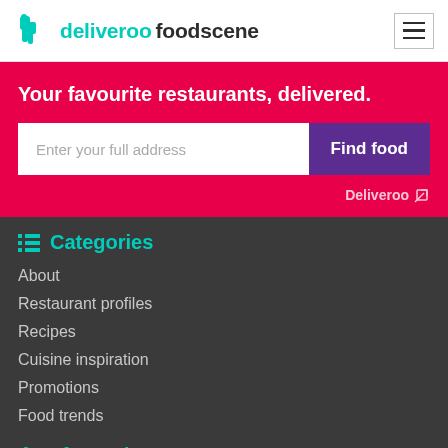deliveroo foodscene
Your favourite restaurants, delivered.
Enter your full address
Find food
Deliveroo ↗
Categories
About
Restaurant profiles
Recipes
Cuisine inspiration
Promotions
Food trends
Information